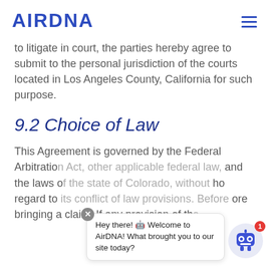AIRDNA
to litigate in court, the parties hereby agree to submit to the personal jurisdiction of the courts located in Los Angeles County, California for such purpose.
9.2 Choice of Law
This Agreement is governed by the Federal Arbitration Act, other applicable federal law, and the laws of the state of Colorado, without regard to its conflict of law provisions. Before bringing a claim. If any provision of the